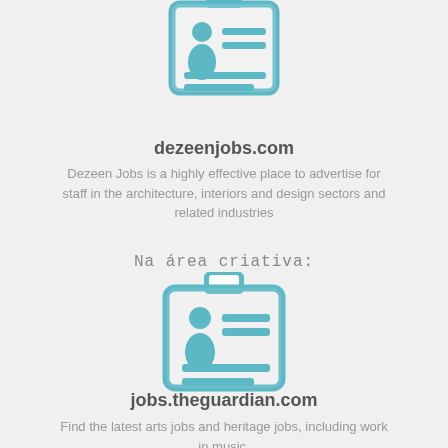[Figure (illustration): Teal/blue ID badge icon with a person silhouette and horizontal lines, clipped at top]
dezeenjobs.com
Dezeen Jobs is a highly effective place to advertise for staff in the architecture, interiors and design sectors and related industries
Na área criativa:
[Figure (illustration): Teal/blue ID badge icon with a person silhouette and horizontal lines, with full badge visible including clip at top]
jobs.theguardian.com
Find the latest arts jobs and heritage jobs, including work in music,